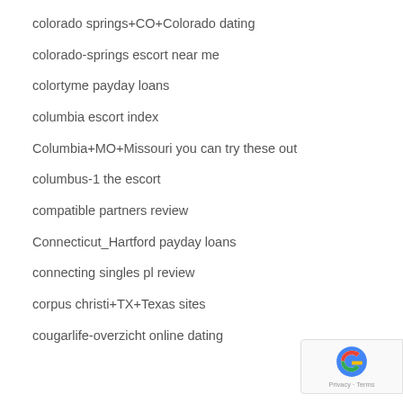colorado springs+CO+Colorado dating
colorado-springs escort near me
colortyme payday loans
columbia escort index
Columbia+MO+Missouri you can try these out
columbus-1 the escort
compatible partners review
Connecticut_Hartford payday loans
connecting singles pl review
corpus christi+TX+Texas sites
cougarlife-overzicht online dating